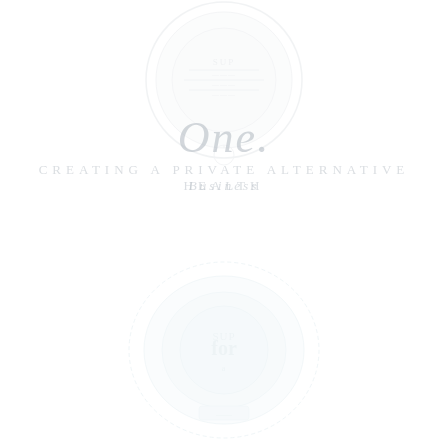[Figure (logo): Circular emblem/logo with text and decorative elements, top of page, very faint white/light gray]
One.
Creating a private alternative health
Business
[Figure (logo): Circular emblem/logo with text and decorative elements, bottom half of page, light blue tint, very faint]